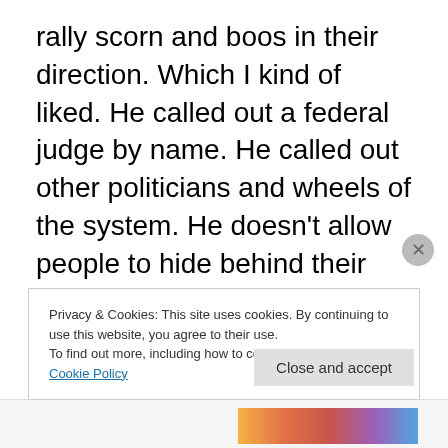rally scorn and boos in their direction. Which I kind of liked. He called out a federal judge by name. He called out other politicians and wheels of the system. He doesn't allow people to hide behind their position, or their title, or the party, or their affiliations or status or prestige or privilege. He is not afraid to point fingers and name names. I loved it, but others consider it un-presidential. The irony is that for years and years the same people have done nothing but complain about how Washington politics are corrupt, how both political parties are in cahoots and playing the American public for fools, how
Privacy & Cookies: This site uses cookies. By continuing to use this website, you agree to their use.
To find out more, including how to control cookies, see here: Cookie Policy
Close and accept